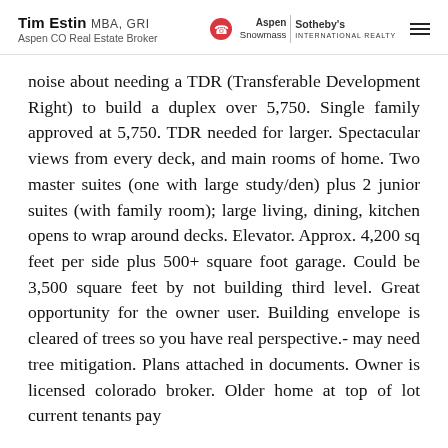Tim Estin MBA, GRI — Aspen CO Real Estate Broker | Aspen Snowmass Sotheby's International Realty
noise about needing a TDR (Transferable Development Right) to build a duplex over 5,750. Single family approved at 5,750. TDR needed for larger. Spectacular views from every deck, and main rooms of home. Two master suites (one with large study/den) plus 2 junior suites (with family room); large living, dining, kitchen opens to wrap around decks. Elevator. Approx. 4,200 sq feet per side plus 500+ square foot garage. Could be 3,500 square feet by not building third level. Great opportunity for the owner user. Building envelope is cleared of trees so you have real perspective.- may need tree mitigation. Plans attached in documents. Owner is licensed colorado broker. Older home at top of lot current tenants pay